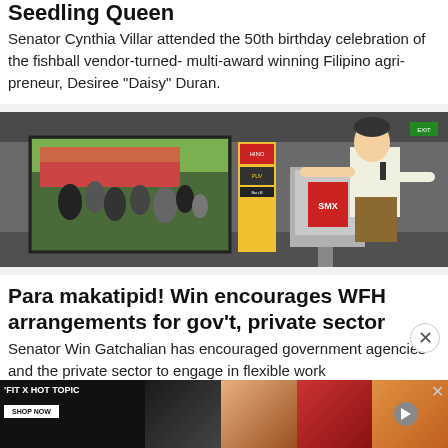Seedling Queen
Senator Cynthia Villar attended the 50th birthday celebration of the fishball vendor-turned- multi-award winning Filipino agri-preneur, Desiree "Daisy" Duran.
[Figure (photo): A man standing at a podium speaking at an SMX event, with a large screen showing a crowd around a jeepney in the background. Roll-up banners are visible on the sides.]
Para makatipid! Win encourages WFH arrangements for gov't, private sector
Senator Win Gatchalian has encouraged government agencies and the private sector to engage in flexible work
[Figure (illustration): Advertisement banner for 'FIT X HOT TOPIC' with SHOP NOW button and images of people/models]